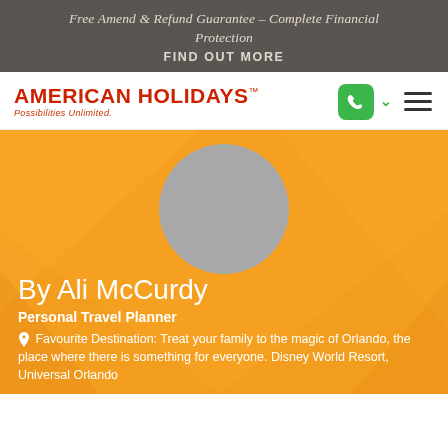Free Amend & Refund Guarantee – Complete Financial Protection
FIND OUT MORE
[Figure (logo): American Holidays logo with red bold text and tagline 'Possibilities Unlimited.' with green phone button and hamburger menu]
[Figure (photo): Orange hero section with geometric triangle background, gray placeholder avatar circle, and agent profile info: By Ali McCurdy, Personal Travel Planner, Favourite Destination: Treat your family to the magic of Orlando, the place where there is something for everyone. Disney World Resort, Universal Orlando]